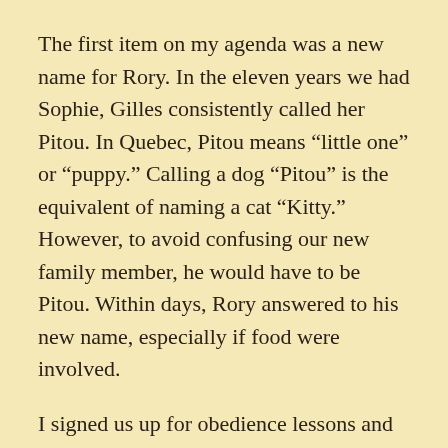The first item on my agenda was a new name for Rory. In the eleven years we had Sophie, Gilles consistently called her Pitou. In Quebec, Pitou means “little one” or “puppy.” Calling a dog “Pitou” is the equivalent of naming a cat “Kitty.” However, to avoid confusing our new family member, he would have to be Pitou. Within days, Rory answered to his new name, especially if food were involved.
I signed us up for obedience lessons and bought the necessary paraphernalia—clicker, waist pouch, treats, and a special chest harness. For six weeks Pitou and I learned the basics of good behaviour. Pitou soon knew how to “Lie down,” “Stay,” “Heel,” and go “On-by.” But “Sit?”